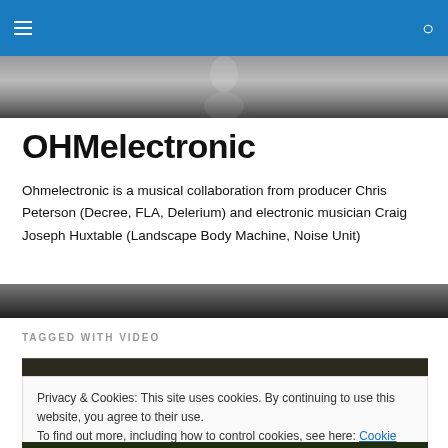OHMelectronic navigation bar with hamburger menu and search icon
[Figure (photo): Grayscale banner image with blurred figure silhouette]
OHMelectronic
Ohmelectronic is a musical collaboration from producer Chris Peterson (Decree, FLA, Delerium) and electronic musician Craig Joseph Huxtable (Landscape Body Machine, Noise Unit)
[Figure (photo): Dark gradient lower banner]
TAGGED WITH VIDEO
[Figure (screenshot): Dark video thumbnail strip]
Privacy & Cookies: This site uses cookies. By continuing to use this website, you agree to their use.
To find out more, including how to control cookies, see here: Cookie Policy
Close and accept
[Figure (photo): Bottom dark green image strip]